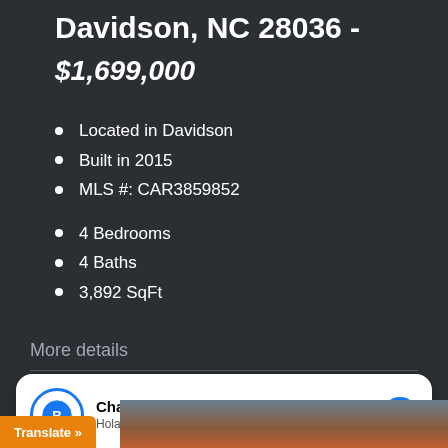Davidson, NC 28036 -
$1,699,000
Located in Davidson
Built in 2015
MLS #: CAR3859852
4 Bedrooms
4 Baths
3,892 SqFt
More details
[Figure (photo): Exterior photo of house in Davidson, NC]
Chatear con BuscanCasa.com
Hola! Como te puedo ayudar?
Translate »